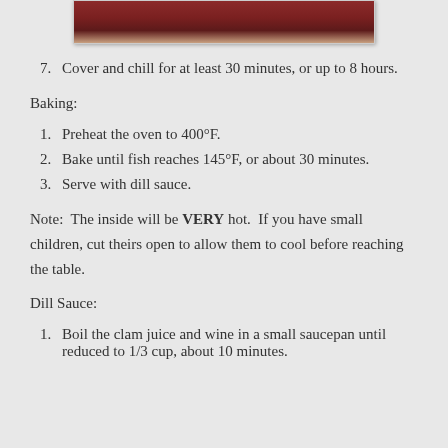[Figure (photo): Partial view of a food photo showing a reddish-brown baked dish, cropped at the bottom]
7. Cover and chill for at least 30 minutes, or up to 8 hours.
Baking:
1. Preheat the oven to 400°F.
2. Bake until fish reaches 145°F, or about 30 minutes.
3. Serve with dill sauce.
Note:  The inside will be VERY hot.  If you have small children, cut theirs open to allow them to cool before reaching the table.
Dill Sauce:
1. Boil the clam juice and wine in a small saucepan until reduced to 1/3 cup, about 10 minutes.